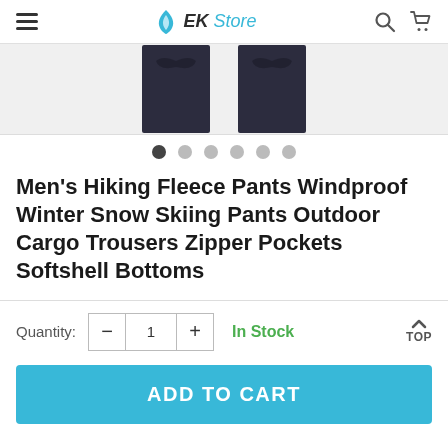EK Store
[Figure (photo): Product thumbnails of dark-colored pants/clothing items shown against a light grey background]
Men's Hiking Fleece Pants Windproof Winter Snow Skiing Pants Outdoor Cargo Trousers Zipper Pockets Softshell Bottoms
Quantity: 1  In Stock
ADD TO CART